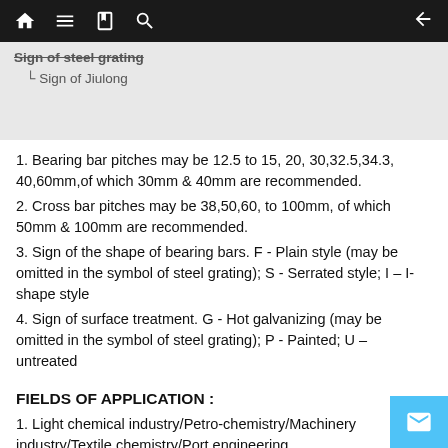Navigation bar with home, menu, book, search icons and back arrow
Sign of steel grating
Sign of Jiulong
1. Bearing bar pitches may be 12.5 to 15, 20, 30,32.5,34.3, 40,60mm,of which 30mm & 40mm are recommended.
2. Cross bar pitches may be 38,50,60, to 100mm, of which 50mm & 100mm are recommended.
3. Sign of the shape of bearing bars. F - Plain style (may be omitted in the symbol of steel grating); S - Serrated style; I – I-shape style
4. Sign of surface treatment. G - Hot galvanizing (may be omitted in the symbol of steel grating); P - Painted; U – untreated
FIELDS OF APPLICATION :
1. Light chemical industry/Petro-chemistry/Machinery industry/Textile chemistry/Port engineering
2.Oil and grease chemistry/Agriculture